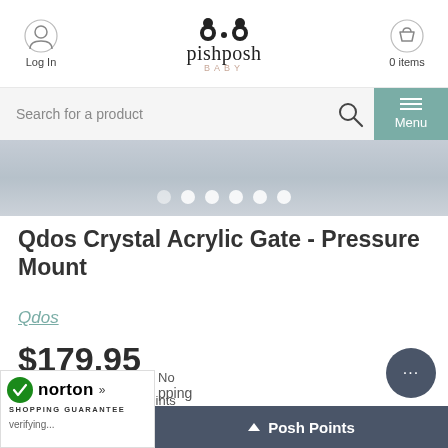Log In | pishposh BABY | 0 items
Search for a product
[Figure (screenshot): Gray wood-texture banner with navigation dots (6 dots, first slightly different)]
Qdos Crystal Acrylic Gate - Pressure Mount
Qdos
$179.95
Earn 1800 Posh Points
1 Review
[Figure (logo): Norton Shopping Guarantee badge with green checkmark]
Posh Points